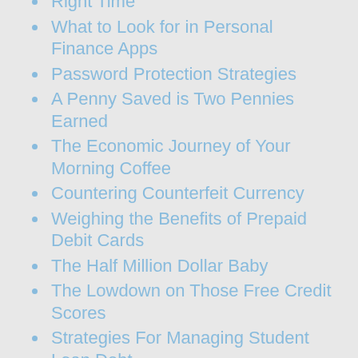Right Time
What to Look for in Personal Finance Apps
Password Protection Strategies
A Penny Saved is Two Pennies Earned
The Economic Journey of Your Morning Coffee
Countering Counterfeit Currency
Weighing the Benefits of Prepaid Debit Cards
The Half Million Dollar Baby
The Lowdown on Those Free Credit Scores
Strategies For Managing Student Loan Debt
Reduction After Di…